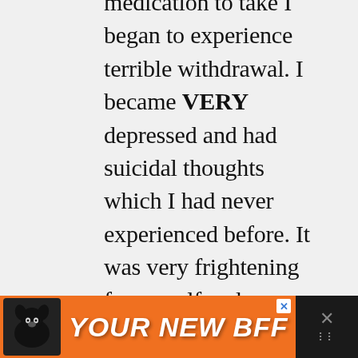medication to take I began to experience terrible withdrawal. I became VERY depressed and had suicidal thoughts which I had never experienced before. It was very frightening for myself and my family. I was in bed nearly all the time due to increased pain and suicidal thoughts. My family tried to find a way to get me this medication but were not successful. The suicidal thoughts didn't end for months. While the medication is not the side...
[Figure (other): Advertisement banner with orange background showing a dog image on the left and bold white italic text 'YOUR NEW BFF' with a close button]